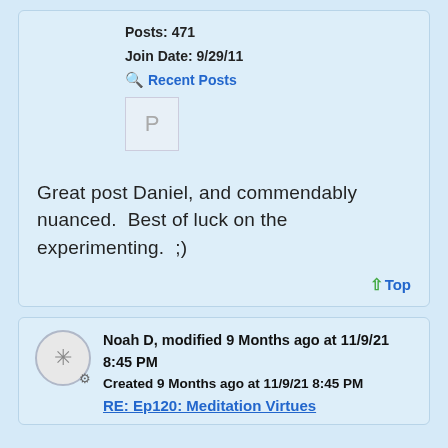Posts: 471
Join Date: 9/29/11
Recent Posts
[Figure (other): User avatar placeholder showing letter P]
Great post Daniel, and commendably nuanced.  Best of luck on the experimenting.  ;)
Top
Noah D, modified 9 Months ago at 11/9/21 8:45 PM
Created 9 Months ago at 11/9/21 8:45 PM
RE: Ep120: Meditation Virtues